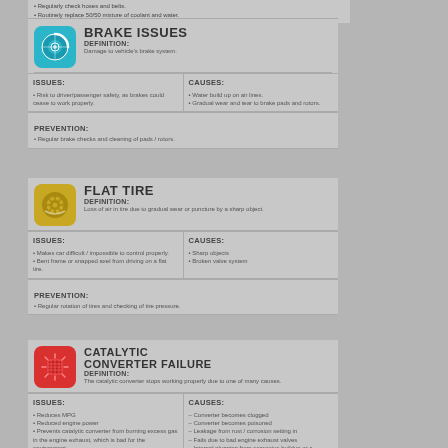• Regularly check hoses and belts.
• Routinely replace 50/50 mixture of coolant and water.
BRAKE ISSUES
DEFINITION: Damage to vehicle's brake system.
ISSUES: Risk to driver/passenger safety, as brakes could cease to work properly.
CAUSES: • Water build up on air lines.
• Gradual wear and tear to brake pads and rotors.
PREVENTION: • Regular brake checks and cleaning of pads / rotors.
FLAT TIRE
DEFINITION: Loss of air in tire due to gradual wear or puncture by a sharp object.
ISSUES: • Makes car difficult / impossible to control properly.
• Bent frame or snapped axel from driving on a flat tire.
CAUSES: • Sharp objects
• Broken valve system
PREVENTION: • Regular rotation of tires and checking of tire pressure.
CATALYTIC CONVERTER FAILURE
DEFINITION: The catalytic converter stops working properly due to one of many causes.
ISSUES: • Reduces MPG
• Reduced engine power
• Prevents catalytic converter from burning excess gas in the engine exhaust, which is bad for the environment.
CAUSES: - Converter becomes clogged
- Converter becomes poisoned
- Leakage from rust / corrosion setting in
- Fails due to bad engine exhaust valves
- Internal plugging from excessive buildup or a collapsed catalyst
- Fouled plugs cause unburned fuel to overheat the converter